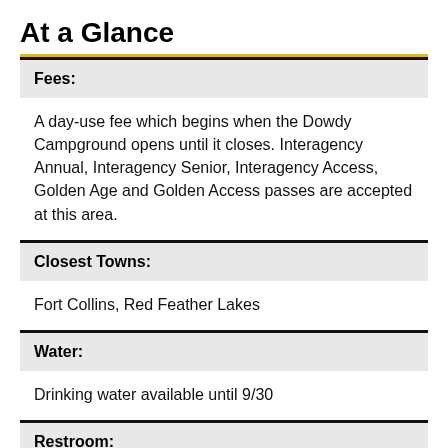At a Glance
Fees:
A day-use fee which begins when the Dowdy Campground opens until it closes. Interagency Annual, Interagency Senior, Interagency Access, Golden Age and Golden Access passes are accepted at this area.
Closest Towns:
Fort Collins, Red Feather Lakes
Water:
Drinking water available until 9/30
Restroom: